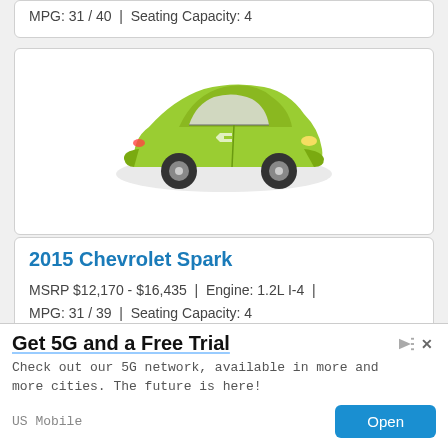MPG: 31 / 40  |  Seating Capacity: 4
[Figure (photo): 2015 Chevrolet Spark in lime green color, side-front view]
2015 Chevrolet Spark
MSRP $12,170 - $16,435  |  Engine: 1.2L I-4  |  MPG: 31 / 39  |  Seating Capacity: 4
[Figure (photo): Dark gray compact car (Scion iQ or similar), side-front view]
Get 5G and a Free Trial
Check out our 5G network, available in more and more cities. The future is here!
US Mobile
Open